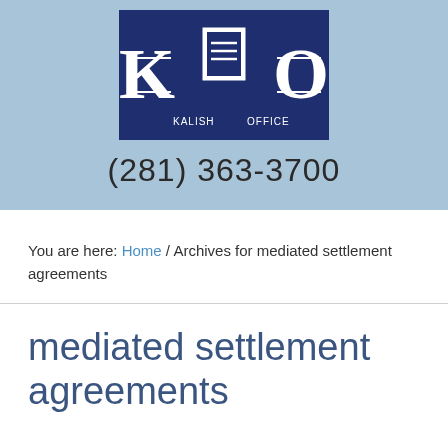[Figure (logo): KLO Kalish Law Office logo — dark navy blue background with large white K and O letters and a document icon in center, text KALISH OFFICE beneath, horizontal lines on sides]
(281) 363-3700
You are here: Home / Archives for mediated settlement agreements
mediated settlement agreements